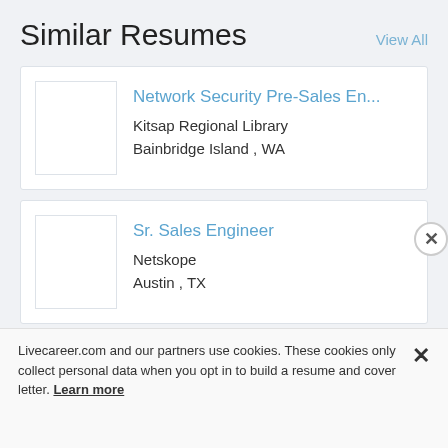Similar Resumes
View All
Network Security Pre-Sales En...
Kitsap Regional Library
Bainbridge Island , WA
Sr. Sales Engineer
Netskope
Austin , TX
[Figure (other): Partially visible third resume card with a thumbnail placeholder and truncated blue title text]
Livecareer.com and our partners use cookies. These cookies only collect personal data when you opt in to build a resume and cover letter. Learn more